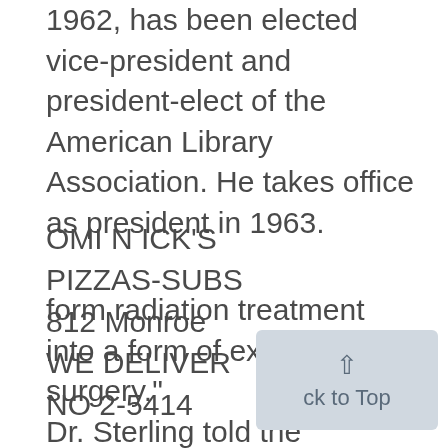1962, has been elected vice-president and president-elect of the American Library Association. He takes office as president in 1963.
OMI N ICK'S
PIZZAS-SUBS
812 Monroe
WE DELIVER
NO 2-5414
form radiation treatment into a form of exact surgery."
Dr. Sterling told the Institute, "Both diagnosis and treatment are now based on relatively crude ob